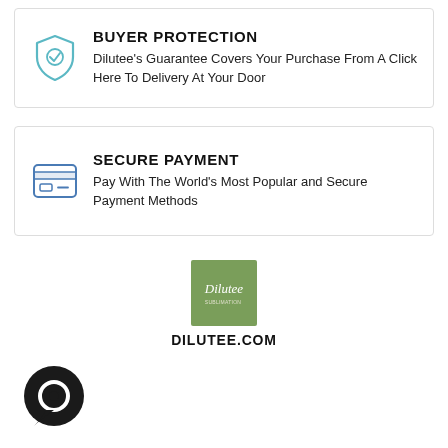BUYER PROTECTION
Dilutee's Guarantee Covers Your Purchase From A Click Here To Delivery At Your Door
SECURE PAYMENT
Pay With The World's Most Popular and Secure Payment Methods
[Figure (logo): Dilutee green square logo with 'Dilutee' text]
DILUTEE.COM
[Figure (illustration): Dark circular chat/message icon]